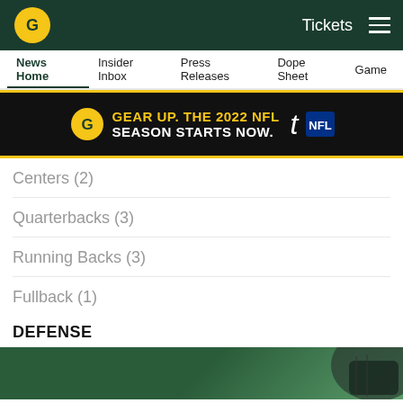Green Bay Packers navigation: Tickets, Menu
News Home | Insider Inbox | Press Releases | Dope Sheet | Game...
[Figure (screenshot): Green Bay Packers ad banner: GEAR UP. THE 2022 NFL SEASON STARTS NOW. with Packers G logo and NFL shield.]
Centers (2)
Quarterbacks (3)
Running Backs (3)
Fullback (1)
DEFENSE
[Figure (photo): Green gradient banner showing a dark jersey/shirt, partial view.]
[Figure (infographic): Social sharing icons row: Facebook, Twitter, Email, Link]